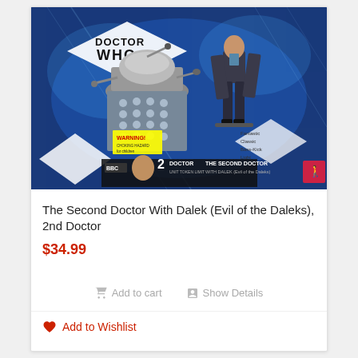[Figure (photo): Doctor Who action figure set box showing The Second Doctor with Dalek (Evil of the Daleks), featuring a Dalek figure and a human Doctor figure against a blue sci-fi background with diamond shapes and the Doctor Who logo]
The Second Doctor With Dalek (Evil of the Daleks), 2nd Doctor
$34.99
Add to cart
Show Details
Add to Wishlist